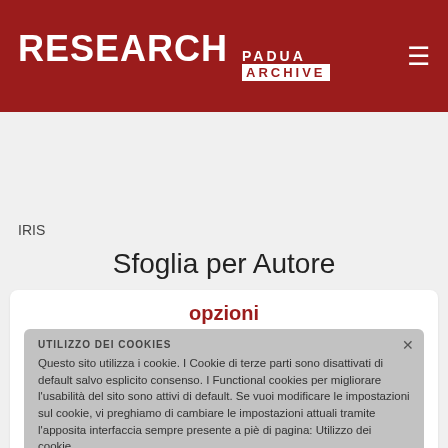RESEARCH PADUA ARCHIVE
[Figure (screenshot): Dark banner/hero image area below header]
IRIS
Sfoglia per Autore
opzioni
UTILIZZO DEI COOKIES
Questo sito utilizza i cookie. I Cookie di terze parti sono disattivati di default salvo esplicito consenso. I Functional cookies per migliorare l'usabilità del sito sono attivi di default. Se vuoi modificare le impostazioni sul cookie, vi preghiamo di cambiare le impostazioni attuali tramite l'apposita interfaccia sempre presente a piè di pagina: Utilizzo dei cookie.
Ordina per:
Data di pubblicazione
In ordine:
Decrescente